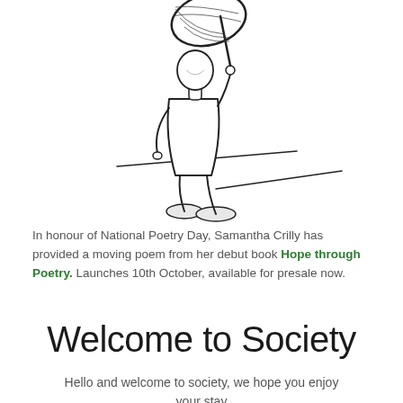[Figure (illustration): Line drawing illustration of a person standing, holding a large circular net or racquet over their head, with two diagonal lines in the background suggesting a floor or ground plane. The figure wears casual clothing and simple shoes.]
In honour of National Poetry Day, Samantha Crilly has provided a moving poem from her debut book Hope through Poetry. Launches 10th October, available for presale now.
Welcome to Society
Hello and welcome to society, we hope you enjoy your stay